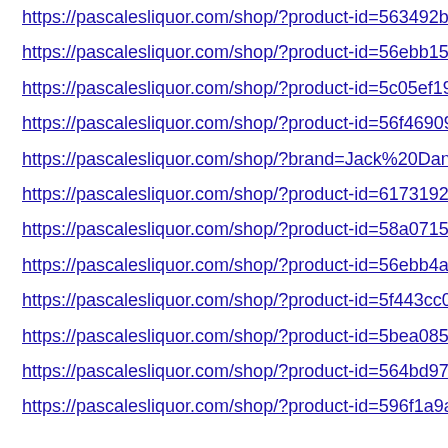https://pascalesliquor.com/shop/?product-id=563492bb0…
https://pascalesliquor.com/shop/?product-id=56ebb1576…
https://pascalesliquor.com/shop/?product-id=5c05ef1920…
https://pascalesliquor.com/shop/?product-id=56f469096…
https://pascalesliquor.com/shop/?brand=Jack%20Daniel…
https://pascalesliquor.com/shop/?product-id=61731920b…
https://pascalesliquor.com/shop/?product-id=58a0715f3…
https://pascalesliquor.com/shop/?product-id=56ebb4aa6…
https://pascalesliquor.com/shop/?product-id=5f443cc0dc…
https://pascalesliquor.com/shop/?product-id=5bea085ba…
https://pascalesliquor.com/shop/?product-id=564bd97c6…
https://pascalesliquor.com/shop/?product-id=596f1a9a43…